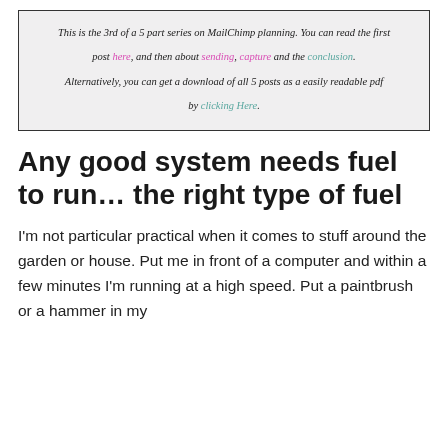This is the 3rd of a 5 part series on MailChimp planning. You can read the first post here, and then about sending, capture and the conclusion. Alternatively, you can get a download of all 5 posts as a easily readable pdf by clicking Here.
Any good system needs fuel to run... the right type of fuel
I'm not particular practical when it comes to stuff around the garden or house. Put me in front of a computer and within a few minutes I'm running at a high speed. Put a paintbrush or a hammer in my